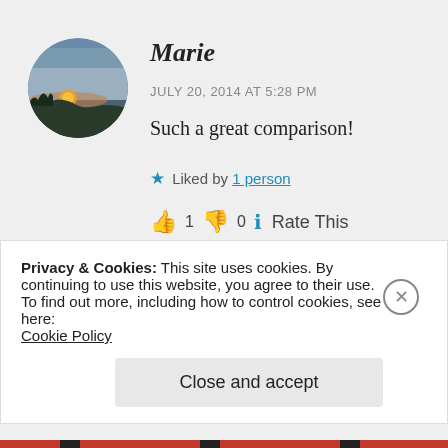[Figure (photo): Circular avatar photo showing a sunset over water with silhouetted landscape]
Marie
JULY 20, 2014 AT 5:28 PM
Such a great comparison!
★ Liked by 1 person
👍 1 👎 0 ℹ Rate This
REPLY
Privacy & Cookies: This site uses cookies. By continuing to use this website, you agree to their use.
To find out more, including how to control cookies, see here:
Cookie Policy
Close and accept